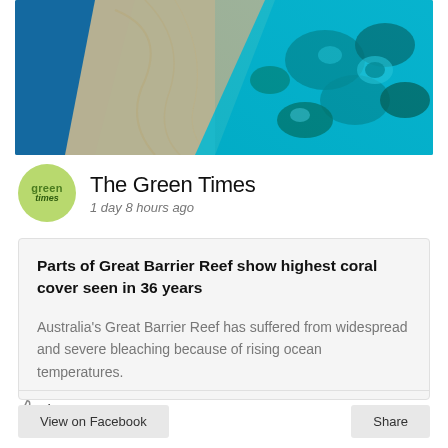[Figure (photo): Aerial photograph of the Great Barrier Reef showing turquoise water, coral formations, and sandy areas]
The Green Times
1 day 8 hours ago
Parts of Great Barrier Reef show highest coral cover seen in 36 years
Australia's Great Barrier Reef has suffered from widespread and severe bleaching because of rising ocean temperatures.
4
View on Facebook
Share